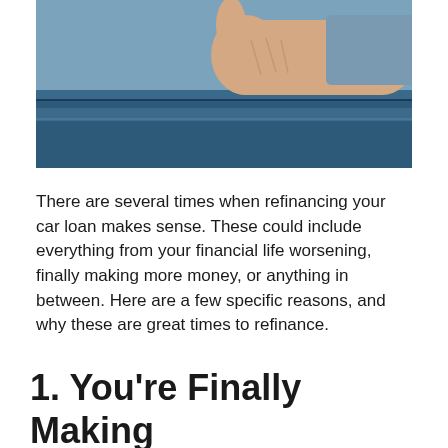[Figure (photo): A person giving a thumbs up out of a car window, photographed from outside the vehicle. Blue car visible.]
There are several times when refinancing your car loan makes sense. These could include everything from your financial life worsening, finally making more money, or anything in between. Here are a few specific reasons, and why these are great times to refinance.
1. You're Finally Making More Money